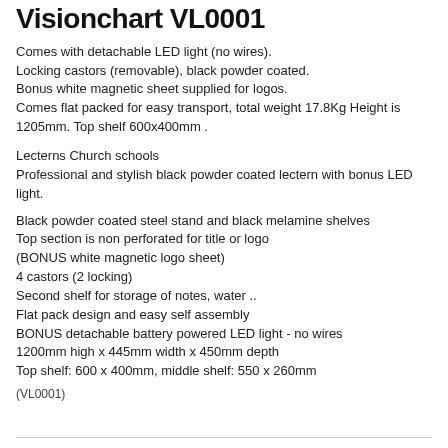Visionchart VL0001
Comes with detachable LED light (no wires).
Locking castors (removable), black powder coated.
Bonus white magnetic sheet supplied for logos.
Comes flat packed for easy transport, total weight 17.8Kg Height is 1205mm. Top shelf 600x400mm .
Lecterns Church schools
Professional and stylish black powder coated lectern with bonus LED light.
Black powder coated steel stand and black melamine shelves
Top section is non perforated for title or logo
(BONUS white magnetic logo sheet)
4 castors (2 locking)
Second shelf for storage of notes, water ..
Flat pack design and easy self assembly
BONUS detachable battery powered LED light - no wires
1200mm high x 445mm width x 450mm depth
Top shelf: 600 x 400mm, middle shelf: 550 x 260mm
(VL0001)